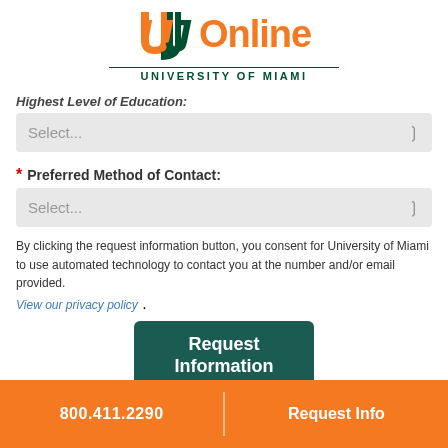[Figure (logo): University of Miami Online logo with U and J letters in orange and green, text 'Online' in orange, 'UNIVERSITY OF MIAMI' in dark green below]
Highest Level of Education:
Select...
* Preferred Method of Contact:
Select...
By clicking the request information button, you consent for University of Miami to use automated technology to contact you at the number and/or email provided.
View our privacy policy .
Request Information
800.411.2290   Request Info